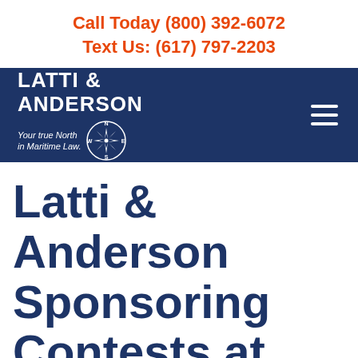Call Today (800) 392-6072
Text Us: (617) 797-2203
[Figure (logo): Latti & Anderson law firm logo with compass rose and tagline 'Your true North in Maritime Law.' on dark navy background with hamburger menu icon]
Latti & Anderson Sponsoring Contests at the Massachusetts